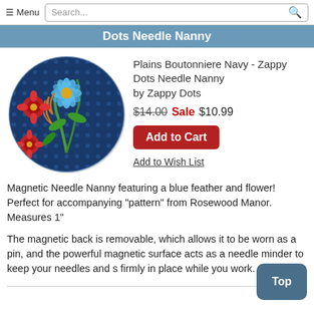≡ Menu  Search...
Dots Needle Nanny
[Figure (illustration): Circular button/badge with blue floral pattern featuring orange and red flowers and blue feather on dark blue dotted background]
Plains Boutonniere Navy - Zappy Dots Needle Nanny by Zappy Dots
$14.00 Sale $10.99
Add to Cart
Add to Wish List
Magnetic Needle Nanny featuring a blue feather and flower! Perfect for accompanying "pattern" from Rosewood Manor. Measures 1"
The magnetic back is removable, which allows it to be worn as a pin, and the powerful magnetic surface acts as a needle minder to keep your needles and s firmly in place while you work.